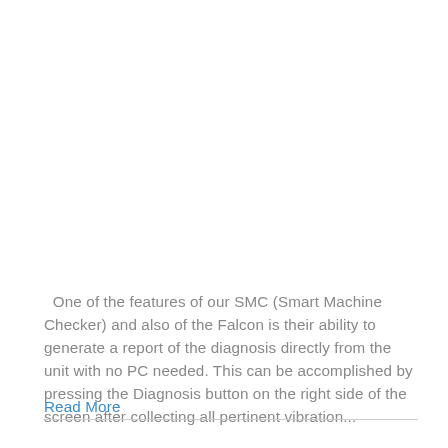One of the features of our SMC (Smart Machine Checker) and also of the Falcon is their ability to generate a report of the diagnosis directly from the unit with no PC needed. This can be accomplished by pressing the Diagnosis button on the right side of the screen after collecting all pertinent vibration...
Read More